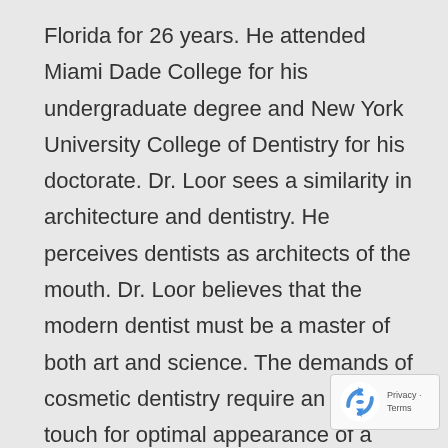Florida for 26 years. He attended Miami Dade College for his undergraduate degree and New York University College of Dentistry for his doctorate. Dr. Loor sees a similarity in architecture and dentistry. He perceives dentists as architects of the mouth. Dr. Loor believes that the modern dentist must be a master of both art and science. The demands of cosmetic dentistry require an artist's touch for optimal appearance of a patient's smile. In addition, with all the advances in new adhesives and tooth-colored bonding materials, the dentist must have a scientific understanding of the underlying gum and tooth structure. Dr. Loor loves what he does and provides his patients with loving care. He is a member of the Florida Dental Association, The International Association of Orthodontics (IAO), and American Academy of Cosmetic
[Figure (logo): reCAPTCHA badge with blue recycling-arrow logo and Privacy - Terms text]